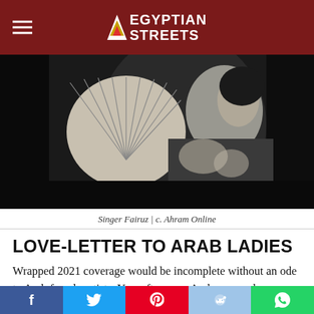Egyptian Streets
[Figure (photo): Black and white vintage photograph of singer Fairuz holding a decorative fan, shown from the side in profile]
Singer Fairuz | c. Ahram Online
LOVE-LETTER TO ARAB LADIES
Wrapped 2021 coverage would be incomplete without an ode to Arab female artists. Year after year, Arab women have fought tooth and nail through hardship and setbacks, persevering despite the odds. Um Kalthoum paved the way, and her musical
f  Twitter  Pinterest  Reddit  WhatsApp